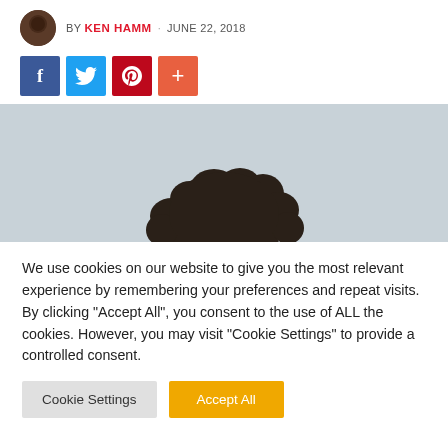BY KEN HAMM · JUNE 22, 2018
[Figure (illustration): Social share buttons: Facebook (blue), Twitter (light blue), Pinterest (red), plus/add (orange-red)]
[Figure (photo): Photo of a person with an afro hairstyle against a light grey sky background, showing only the top of the head/hair]
We use cookies on our website to give you the most relevant experience by remembering your preferences and repeat visits. By clicking "Accept All", you consent to the use of ALL the cookies. However, you may visit "Cookie Settings" to provide a controlled consent.
Cookie Settings   Accept All